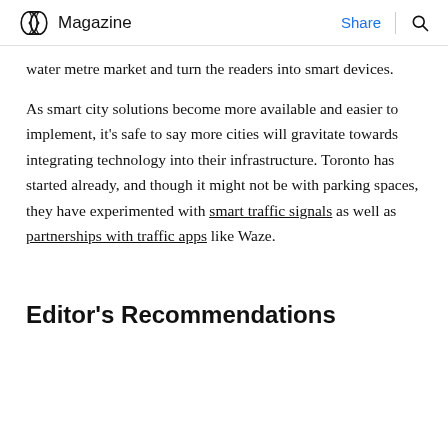Magazine  Share
water metre market and turn the readers into smart devices.
As smart city solutions become more available and easier to implement, it's safe to say more cities will gravitate towards integrating technology into their infrastructure. Toronto has started already, and though it might not be with parking spaces, they have experimented with smart traffic signals as well as partnerships with traffic apps like Waze.
Editor's Recommendations